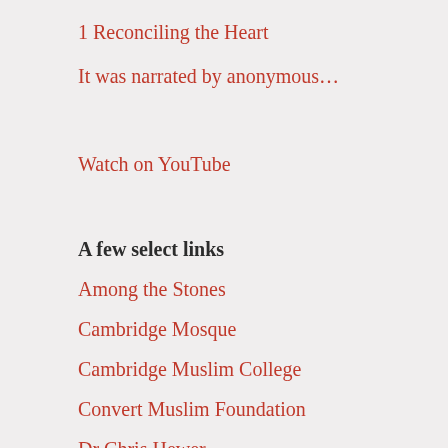1 Reconciling the Heart
It was narrated by anonymous…
Watch on YouTube
A few select links
Among the Stones
Cambridge Mosque
Cambridge Muslim College
Convert Muslim Foundation
Dr Chris Hewer
Introvert, Dear
Nizami
Quranic Islam